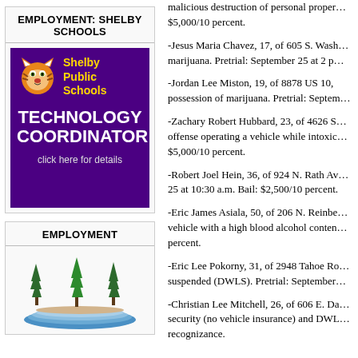EMPLOYMENT: SHELBY SCHOOLS
[Figure (logo): Shelby Public Schools Technology Coordinator advertisement with purple background, tiger mascot logo, yellow and white text reading 'Shelby Public Schools TECHNOLOGY COORDINATOR click here for details']
EMPLOYMENT
[Figure (illustration): Trees and lake/water landscape illustration]
malicious destruction of personal property $5,000/10 percent.
-Jesus Maria Chavez, 17, of 605 S. Wash... marijuana. Pretrial: September 25 at 2 p...
-Jordan Lee Miston, 19, of 8878 US 10, possession of marijuana. Pretrial: Septem...
-Zachary Robert Hubbard, 23, of 4626 S. offense operating a vehicle while intoxic... $5,000/10 percent.
-Robert Joel Hein, 36, of 924 N. Rath Av... 25 at 10:30 a.m. Bail: $2,500/10 percent.
-Eric James Asiala, 50, of 206 N. Reinbe... vehicle with a high blood alcohol conten... percent.
-Eric Lee Pokorny, 31, of 2948 Tahoe Ro... suspended (DWLS). Pretrial: September...
-Christian Lee Mitchell, 26, of 606 E. Da... security (no vehicle insurance) and DWL... recognizance.